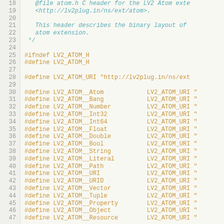Source code listing showing C header file atom.h with LV2 atom extension definitions, lines 18-47